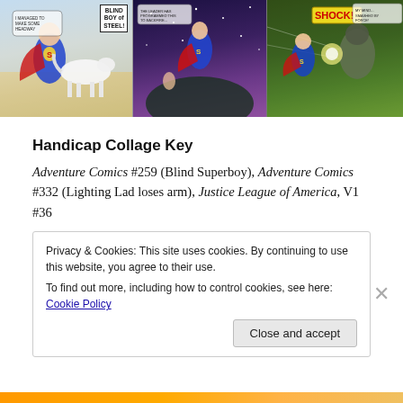[Figure (illustration): Three comic book panel collage showing Superman/Superboy comics: left panel shows Superboy flying with a white horse (Blind Boy of Steel text), middle panel shows a space scene with Superboy and other figures, right panel shows action scene with SHOCK text visible.]
Handicap Collage Key
Adventure Comics #259 (Blind Superboy), Adventure Comics #332 (Lighting Lad loses arm), Justice League of America, V1 #36
Privacy & Cookies: This site uses cookies. By continuing to use this website, you agree to their use.
To find out more, including how to control cookies, see here: Cookie Policy